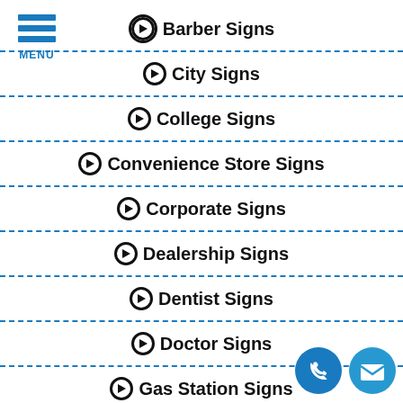[Figure (logo): Hamburger menu icon with three blue horizontal bars and MENU label]
➔ Barber Signs
➔ City Signs
➔ College Signs
➔ Convenience Store Signs
➔ Corporate Signs
➔ Dealership Signs
➔ Dentist Signs
➔ Doctor Signs
➔ Gas Station Signs
[Figure (illustration): Blue circle phone icon and blue circle email/envelope icon in bottom right corner]